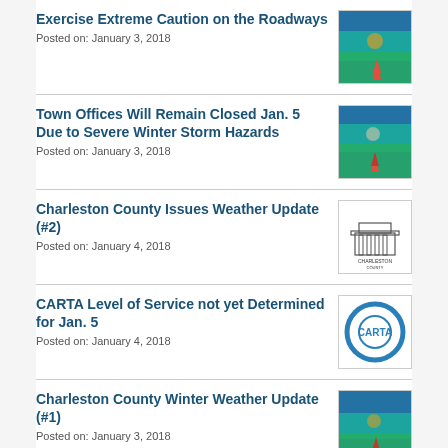Exercise Extreme Caution on the Roadways
Posted on: January 3, 2018
Town Offices Will Remain Closed Jan. 5 Due to Severe Winter Storm Hazards
Posted on: January 3, 2018
Charleston County Issues Weather Update (#2)
Posted on: January 4, 2018
CARTA Level of Service not yet Determined for Jan. 5
Posted on: January 4, 2018
Charleston County Winter Weather Update (#1)
Posted on: January 3, 2018